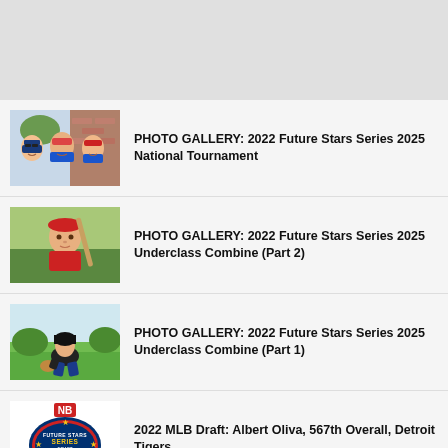[Figure (photo): Three baseball players smiling outdoors, wearing blue uniforms]
PHOTO GALLERY: 2022 Future Stars Series 2025 National Tournament
[Figure (photo): Young baseball player in red uniform holding a bat]
PHOTO GALLERY: 2022 Future Stars Series 2025 Underclass Combine (Part 2)
[Figure (photo): Baseball player fielding on green grass]
PHOTO GALLERY: 2022 Future Stars Series 2025 Underclass Combine (Part 1)
[Figure (logo): Future Stars Series logo with New Balance branding]
2022 MLB Draft: Albert Oliva, 567th Overall, Detroit Tigers